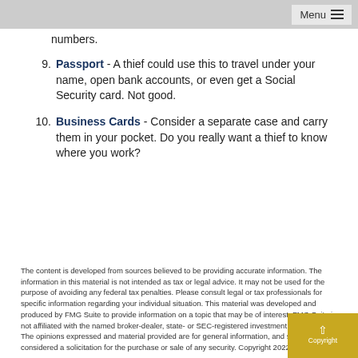Menu
numbers.
9. Passport - A thief could use this to travel under your name, open bank accounts, or even get a Social Security card. Not good.
10. Business Cards - Consider a separate case and carry them in your pocket. Do you really want a thief to know where you work?
The content is developed from sources believed to be providing accurate information. The information in this material is not intended as tax or legal advice. It may not be used for the purpose of avoiding any federal tax penalties. Please consult legal or tax professionals for specific information regarding your individual situation. This material was developed and produced by FMG Suite to provide information on a topic that may be of interest. FMG Suite is not affiliated with the named broker-dealer, state- or SEC-registered investment advisory firm. The opinions expressed and material provided are for general information, and should not be considered a solicitation for the purchase or sale of any security. Copyright 2022 FMG Suite.